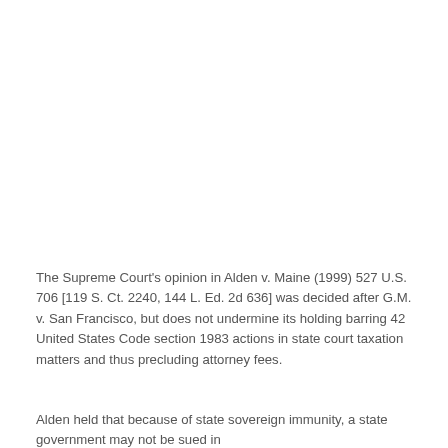The Supreme Court's opinion in Alden v. Maine (1999) 527 U.S. 706 [119 S. Ct. 2240, 144 L. Ed. 2d 636] was decided after G.M. v. San Francisco, but does not undermine its holding barring 42 United States Code section 1983 actions in state court taxation matters and thus precluding attorney fees.
Alden held that because of state sovereign immunity, a state government may not be sued in